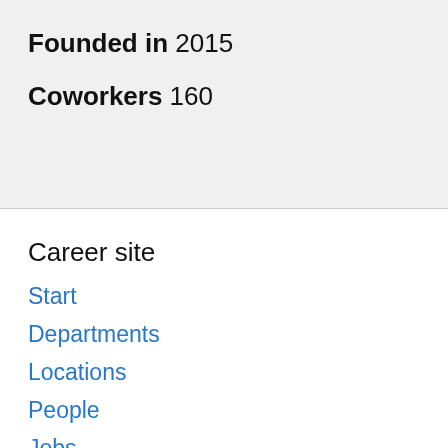Founded in 2015
Coworkers 160
Career site
Start
Departments
Locations
People
Jobs